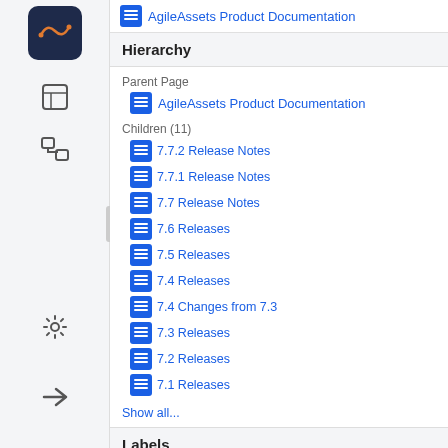AgileAssets Product Documentation
Hierarchy
Parent Page
AgileAssets Product Documentation
Children (11)
7.7.2 Release Notes
7.7.1 Release Notes
7.7 Release Notes
7.6 Releases
7.5 Releases
7.4 Releases
7.4 Changes from 7.3
7.3 Releases
7.2 Releases
7.1 Releases
Show all...
Labels
There are no labels assigned to this page.